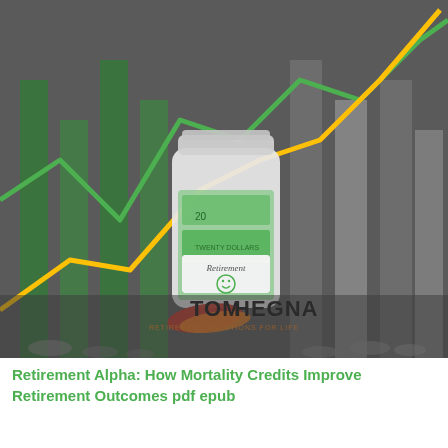[Figure (illustration): Book cover for 'Retirement Alpha: How Mortality Credits Improve Retirement Outcomes' by Tom Hegna. Dark gray background with a financial chart overlay showing green and yellow/orange line charts trending upward. Center shows a glass jar labeled 'Retirement' with a smiley face, filled with currency (dollar bills/euros). Bottom shows Tom Hegna logo with red and orange swoosh and 'RETIREMENT SOLUTIONS FOR LIFE' tagline. Decorative coins and scattered elements at bottom.]
Retirement Alpha: How Mortality Credits Improve Retirement Outcomes pdf epub